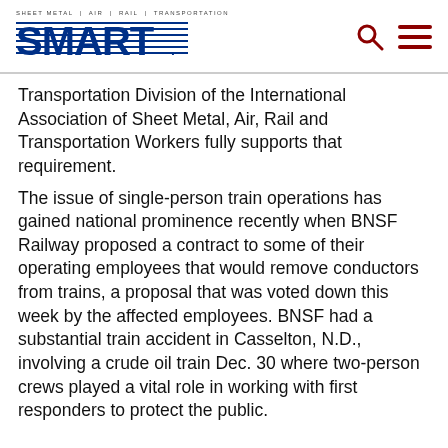SMART — Sheet Metal | Air | Rail | Transportation
Transportation Division of the International Association of Sheet Metal, Air, Rail and Transportation Workers fully supports that requirement.
The issue of single-person train operations has gained national prominence recently when BNSF Railway proposed a contract to some of their operating employees that would remove conductors from trains, a proposal that was voted down this week by the affected employees. BNSF had a substantial train accident in Casselton, N.D., involving a crude oil train Dec. 30 where two-person crews played a vital role in working with first responders to protect the public.